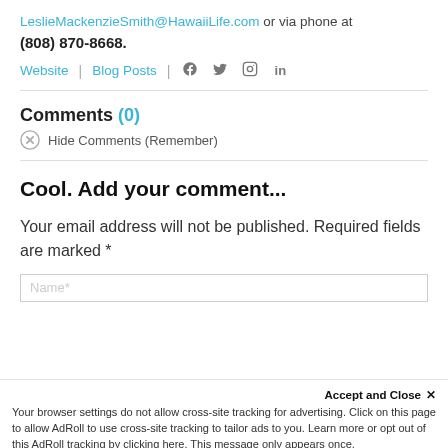LeslieMackenzieSmith@HawaiiLife.com or via phone at (808) 870-8668.
Website | Blog Posts | [social icons]
Comments (0)
Hide Comments (Remember)
Cool. Add your comment...
Your email address will not be published. Required fields are marked *
Accept and Close ✕
Your browser settings do not allow cross-site tracking for advertising. Click on this page to allow AdRoll to use cross-site tracking to tailor ads to you. Learn more or opt out of this AdRoll tracking by clicking here. This message only appears once.